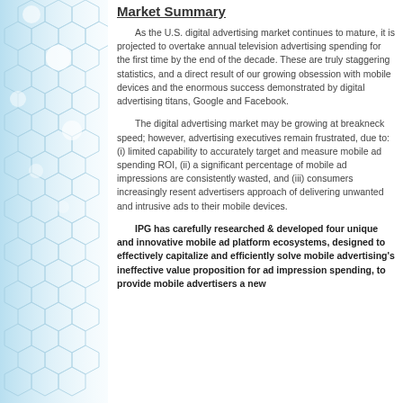Market Summary
As the U.S. digital advertising market continues to mature, it is projected to overtake annual television advertising spending for the first time by the end of the decade. These are truly staggering statistics, and a direct result of our growing obsession with mobile devices and the enormous success demonstrated by digital advertising titans, Google and Facebook.
The digital advertising market may be growing at breakneck speed; however, advertising executives remain frustrated, due to: (i) limited capability to accurately target and measure mobile ad spending ROI, (ii) a significant percentage of mobile ad impressions are consistently wasted, and (iii) consumers increasingly resent advertisers approach of delivering unwanted and intrusive ads to their mobile devices.
IPG has carefully researched & developed four unique and innovative mobile ad platform ecosystems, designed to effectively capitalize and efficiently solve mobile advertising's ineffective value proposition for ad impression spending, to provide mobile advertisers a new